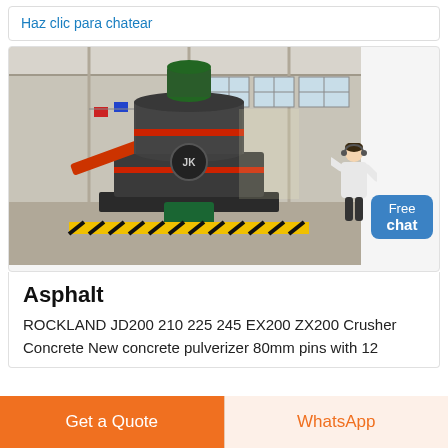Haz clic para chatear
[Figure (photo): Industrial vertical grinding mill / pulverizer machine photographed inside a large factory warehouse. The machine is gray and black with red accents and orange/red conveyor. Colorful international flags hang in the background. Yellow and black safety stripes on floor. Green pump visible at base.]
Asphalt
ROCKLAND JD200 210 225 245 EX200 ZX200 Crusher Concrete New concrete pulverizer 80mm pins with 12
Get a Quote
WhatsApp